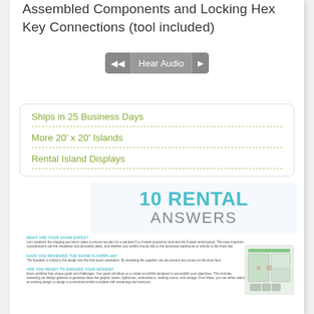Assembled Components and Locking Hex Key Connections (tool included)
[Figure (other): Audio player button with left skip, Hear Audio label, and right play arrow]
Ships in 25 Business Days
More 20' x 20' Islands
Rental Island Displays
[Figure (infographic): 10 RENTAL ANSWERS infographic with Q&A items: WHAT ARE YOUR SHOW DATES?, HAVE YOU REVIEWED THE SHOW FLOORPLAN?, ARE YOU READY TO DISCUSS YOUR DESIGN? with a booth illustration on the right]